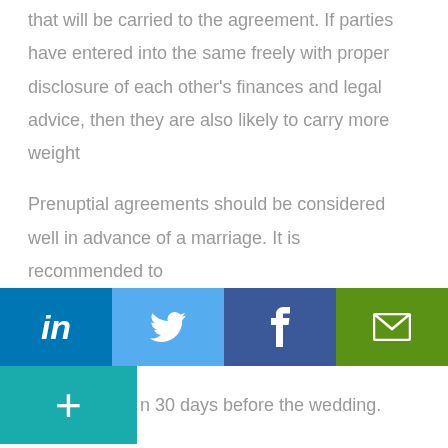that will be carried to the agreement. If parties have entered into the same freely with proper disclosure of each other's finances and legal advice, then they are also likely to carry more weight
Prenuptial agreements should be considered well in advance of a marriage. It is recommended to
[Figure (infographic): Social media sharing buttons: LinkedIn (teal), Twitter (light blue), Facebook (dark blue), Email (green), and a plus/more button (teal)]
n 30 days before the wedding.
Both parties should have the opportunity to go